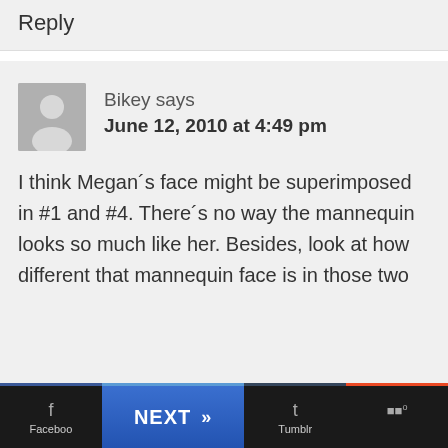Reply
Bikey says
June 12, 2010 at 4:49 pm
I think Megan´s face might be superimposed in #1 and #4. There´s no way the mannequin looks so much like her. Besides, look at how different that mannequin face is in those two
Facebook | NEXT >> | Tumblr | ...